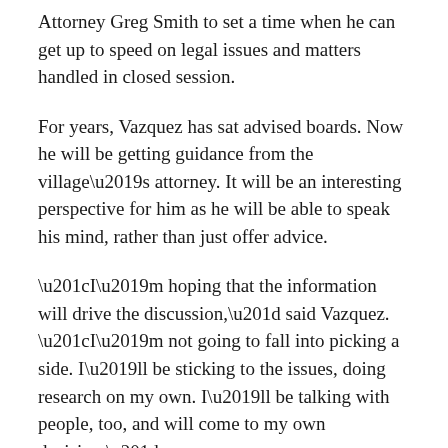Attorney Greg Smith to set a time when he can get up to speed on legal issues and matters handled in closed session.
For years, Vazquez has sat advised boards. Now he will be getting guidance from the village’s attorney. It will be an interesting perspective for him as he will be able to speak his mind, rather than just offer advice.
“I’m hoping that the information will drive the discussion,” said Vazquez. “I’m not going to fall into picking a side. I’ll be sticking to the issues, doing research on my own. I’ll be talking with people, too, and will come to my own decision.”
Vote totals were unchanged from election night. Henok